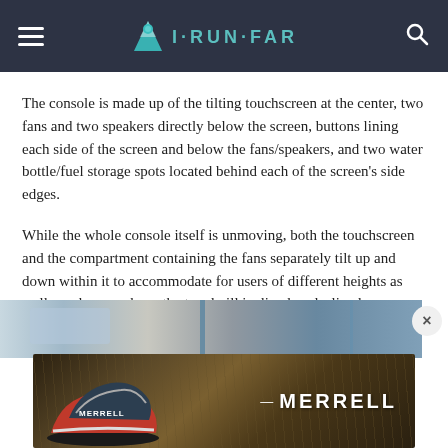I·RUN·FAR
The console is made up of the tilting touchscreen at the center, two fans and two speakers directly below the screen, buttons lining each side of the screen and below the fans/speakers, and two water bottle/fuel storage spots located behind each of the screen's side edges.
While the whole console itself is unmoving, both the touchscreen and the compartment containing the fans separately tilt up and down within it to accommodate for users of different heights as well as when you have the treadmill inclined or declined.
[Figure (photo): Treadmill console photo strip at top, and Merrell shoe advertisement banner at bottom showing a running shoe with 'MERRELL' text]